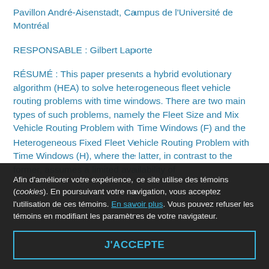Pavillon André-Aisenstadt, Campus de l'Université de Montréal
RESPONSABLE : Gilbert Laporte
RÉSUMÉ : This paper presents a hybrid evolutionary algorithm (HEA) to solve heterogeneous fleet vehicle routing problems with time windows. There are two main types of such problems, namely the Fleet Size and Mix Vehicle Routing Problem with Time Windows (F) and the Heterogeneous Fixed Fleet Vehicle Routing Problem with Time Windows (H), where the latter, in contrast to the former, assumes a limited availability of
Afin d'améliorer votre expérience, ce site utilise des témoins (cookies). En poursuivant votre navigation, vous acceptez l'utilisation de ces témoins. En savoir plus. Vous pouvez refuser les témoins en modifiant les paramètres de votre navigateur.
J'ACCEPTE